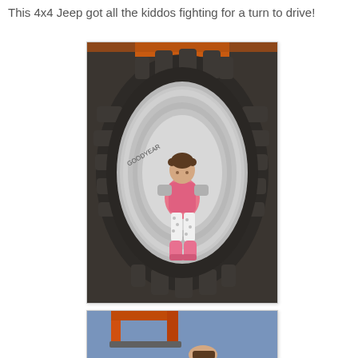This 4x4 Jeep got all the kiddos fighting for a turn to drive!
[Figure (photo): A toddler girl with pigtails sitting inside the hub of a large tractor/Jeep tire, wearing a pink vest, spotted leggings, and pink boots. The tire tread fills most of the frame with orange vehicle visible at top.]
[Figure (photo): Partial view of orange Jeep/vehicle interior or frame with blue background, child visible at bottom.]